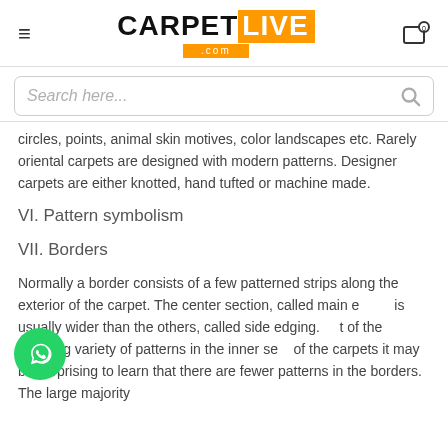CARPETLIVE.com
circles, points, animal skin motives, color landscapes etc. Rarely oriental carpets are designed with modern patterns. Designer carpets are either knotted, hand tufted or machine made.
VI. Pattern symbolism
VII. Borders
Normally a border consists of a few patterned strips along the exterior of the carpet. The center section, called main s... is usually wider than the others, called side edging. ...t of the amazing variety of patterns in the inner se... of the carpets it may be surprising to learn that there are fewer patterns in the borders. The large majority